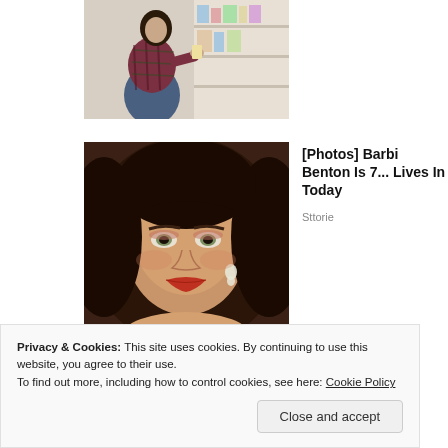[Figure (photo): Woman in plaid shirt crouching and looking at products on a store shelf]
[Figure (photo): Portrait photo of Barbi Benton with big wavy dark hair, wearing earrings and red lipstick]
[Photos] Barbi Benton Is 7... Lives In Today
Sttorie
[Figure (photo): Partial bottom photo, partially cut off]
Privacy & Cookies: This site uses cookies. By continuing to use this website, you agree to their use.
To find out more, including how to control cookies, see here: Cookie Policy
Close and accept